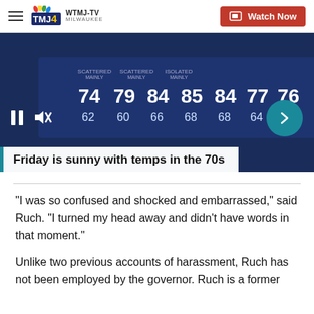WTMJ-TV MILWAUKEE | Watch Now
[Figure (screenshot): TV news broadcast screenshot showing a weather forecast with temperatures: 74, 79, 84, 85, 84, 77, 76 (highs) and 62, 60, 66, 68, 68, 64, 63 (lows). A male news anchor in a suit is visible on the right side. Video player controls (pause, mute) are visible at the bottom left, and a teal arrow button at the bottom right.]
Friday is sunny with temps in the 70s
“I was so confused and shocked and embarrassed,” said Ruch. “I turned my head away and didn’t have words in that moment.”
Unlike two previous accounts of harassment, Ruch has not been employed by the governor. Ruch is a former